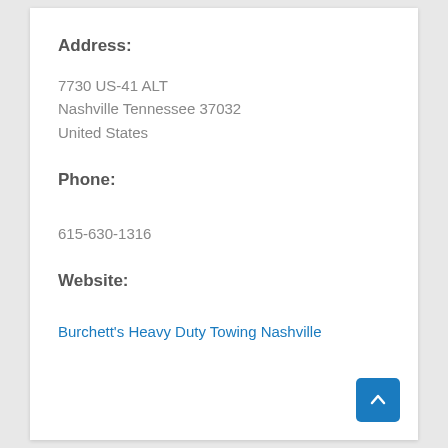Address:
7730 US-41 ALT
Nashville Tennessee 37032
United States
Phone:
615-630-1316
Website:
Burchett's Heavy Duty Towing Nashville